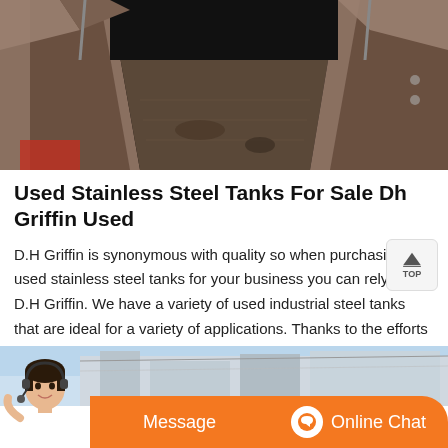[Figure (photo): Industrial steel tank interior viewed from above, showing metal walls and floor with debris, dark industrial setting]
Used Stainless Steel Tanks For Sale Dh Griffin Used
D.H Griffin is synonymous with quality so when purchasing used stainless steel tanks for your business you can rely on D.H Griffin. We have a variety of used industrial steel tanks that are ideal for a variety of applications. Thanks to the efforts of our team we have a growing inventory of stainless steel tanks that range from 20 gallons all ...
[Figure (photo): Outdoor industrial facility with blue sky background and customer service agent overlay with Message and Online Chat buttons]